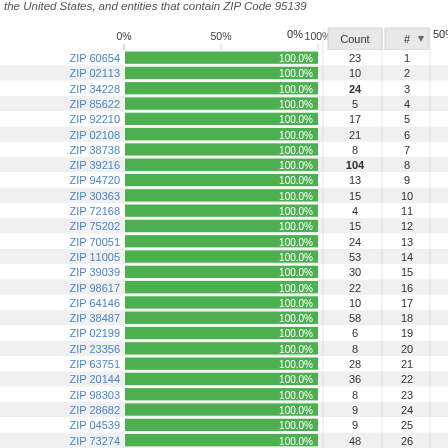the United States, and entities that contain ZIP Code 95139
[Figure (bar-chart): Entities containing ZIP Code - 100% match rate]